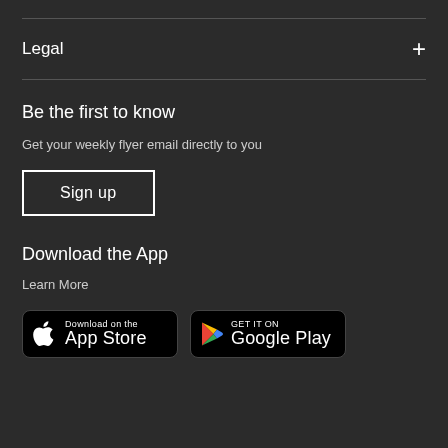Legal
Be the first to know
Get your weekly flyer email directly to you
Sign up
Download the App
Learn More
[Figure (other): App Store and Google Play download badges]
Download on the App Store
GET IT ON Google Play